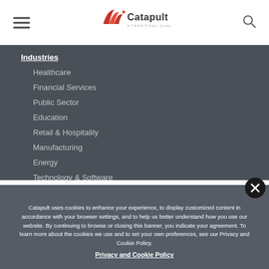Catapult - A TEKNITIKAL Company (navigation bar with hamburger menu and search icon)
Industries
Healthcare
Financial Services
Public Sector
Education
Retail & Hospitality
Manufacturing
Energy
Technology & Software
Catapult uses cookies to enhance your experience, to display customized content in accordance with your browser settings, and to help us better understand how you use our website. By continuing to browse or closing this banner, you indicate your agreement. To learn more about the cookies we use and to set your own preferences, see our Privacy and Cookie Policy.
Privacy and Cookie Policy